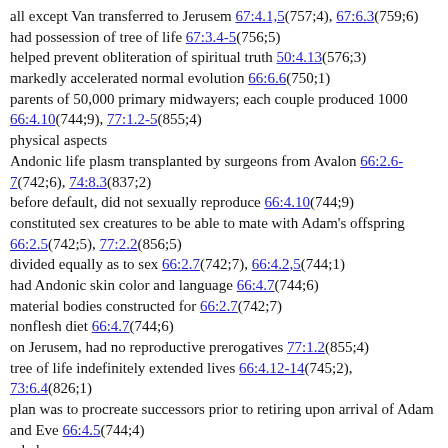all except Van transferred to Jerusem 67:4.1,5(757;4), 67:6.3(759;6)
had possession of tree of life 67:3.4-5(756;5)
helped prevent obliteration of spiritual truth 50:4.13(576;3)
markedly accelerated normal evolution 66:6.6(750;1)
parents of 50,000 primary midwayers; each couple produced 1000 66:4.10(744;9), 77:1.2-5(855;4)
physical aspects
Andonic life plasm transplanted by surgeons from Avalon 66:2.6-7(742;6), 74:8.3(837;2)
before default, did not sexually reproduce 66:4.10(744;9)
constituted sex creatures to be able to mate with Adam's offspring 66:2.5(742;5), 77:2.2(856;5)
divided equally as to sex 66:2.7(742;7), 66:4.2,5(744;1)
had Andonic skin color and language 66:4.7(744;6)
material bodies constructed for 66:2.7(742;7)
nonflesh diet 66:4.7(744;6)
on Jerusem, had no reproductive prerogatives 77:1.2(855;4)
tree of life indefinitely extended lives 66:4.12-14(745;2), 73:6.4(826;1)
plan was to procreate successors prior to retiring upon arrival of Adam and Eve 66:4.5(744;4)
rebels
degraded to mortal status; died natural deaths 67:4.2-4(757;5)